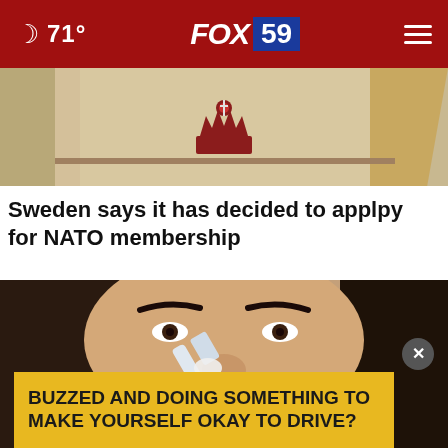🌙 71° — FOX 59
[Figure (photo): Partial view of a decorative display with a crown motif and wooden/golden elements, serving as the thumbnail image for the Sweden NATO article.]
Sweden says it has decided to applpy for NATO membership
[Figure (photo): Close-up photo of a woman with dark hair applying something white (toothpaste or cream) to her nose with a toothbrush, used as the thumbnail for a story about buzzed driving.]
BUZZED AND DOING SOMETHING TO MAKE YOURSELF OKAY TO DRIVE?